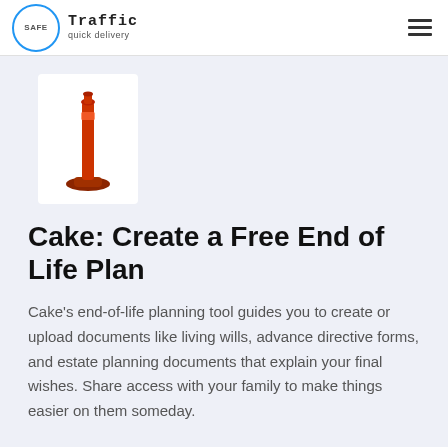Traffic quick delivery — SAFE logo with hamburger menu
[Figure (photo): Red traffic delineator post/bollard on white background product image]
Cake: Create a Free End of Life Plan
Cake's end-of-life planning tool guides you to create or upload documents like living wills, advance directive forms, and estate planning documents that explain your final wishes. Share access with your family to make things easier on them someday.